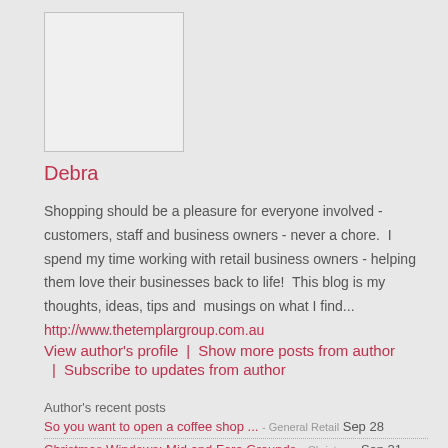[Figure (photo): Blank profile photo placeholder, white square with light gray border]
Debra
Shopping should be a pleasure for everyone involved - customers, staff and business owners - never a chore.  I spend my time working with retail business owners - helping them love their businesses back to life!  This blog is my thoughts, ideas, tips and  musings on what I find...
http://www.thetemplargroup.com.au
View author's profile
Show more posts from author
Subscribe to updates from author
Author's recent posts
So you want to open a coffee shop ... - General Retail Sep 28
Christmas Windows: Mid and Fore Grounds - Christmas Sep 21
Christmas Window Backgrounds - Christmas Sep 20